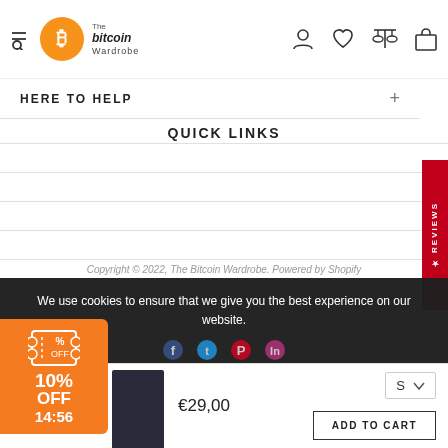The Bitcoin Wardrobe navigation header
HERE TO HELP
QUICK LINKS
Copyright © 2022, The Bitcoin Wardrobe. Powered by Shopify
We use cookies to ensure that we give you the best experience on our website.
PRIVACY POLICY   ACCEPT ✓
10% OFF 14:56
€29,00
ADD TO CART